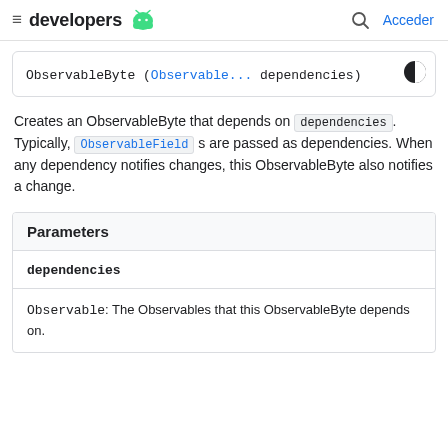developers  Acceder
ObservableByte (Observable... dependencies)
Creates an ObservableByte that depends on dependencies. Typically, ObservableField s are passed as dependencies. When any dependency notifies changes, this ObservableByte also notifies a change.
| Parameters |
| --- |
| dependencies | Observable: The Observables that this ObservableByte depends on. |